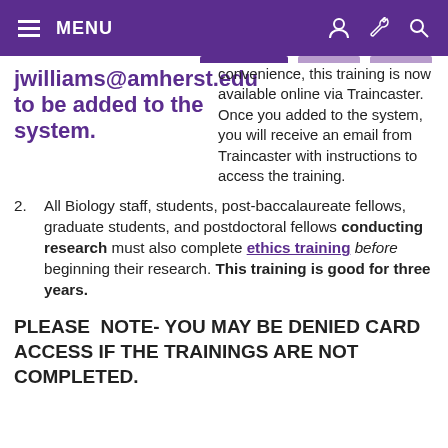MENU
jwilliams@amherst.edu to be added to the system.
convenience, this training is now available online via Traincaster. Once you added to the system, you will receive an email from Traincaster with instructions to access the training.
2. All Biology staff, students, post-baccalaureate fellows, graduate students, and postdoctoral fellows conducting research must also complete ethics training before beginning their research. This training is good for three years.
PLEASE NOTE- YOU MAY BE DENIED CARD ACCESS IF THE TRAININGS ARE NOT COMPLETED.